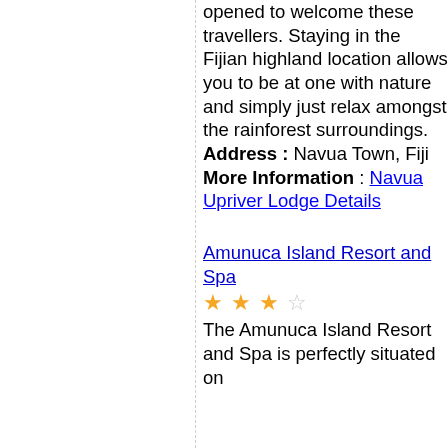opened to welcome these travellers. Staying in the Fijian highland location allows you to be at one with nature and simply just relax amongst the rainforest surroundings.
Address : Navua Town, Fiji
More Information : Navua Upriver Lodge Details
Amunuca Island Resort and Spa
★★★☆ (3 out of 4 stars)
The Amunuca Island Resort and Spa is perfectly situated on